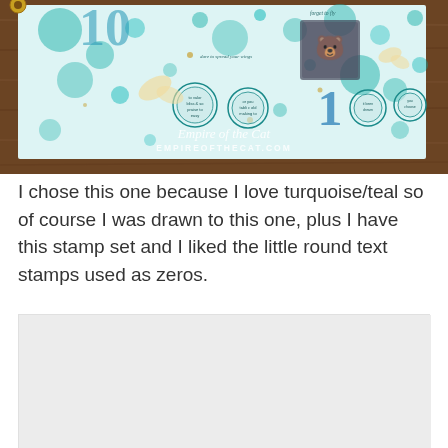[Figure (photo): A craft/art journal page with turquoise/teal background featuring bubble textures, butterfly stamps, circular text stamps used as zeros, and a glitter/dark textured cat or bear stamp. The page sits on a wood surface. Watermark reads 'Empire of the Cat' and 'EMPIREOFTHECAT.COM'.]
I chose this one because I love turquoise/teal so of course I was drawn to this one, plus I have this stamp set and I liked the little round text stamps used as zeros.
[Figure (photo): Partially visible second photo at bottom of page, mostly light gray/white, appearing to be another craft project.]